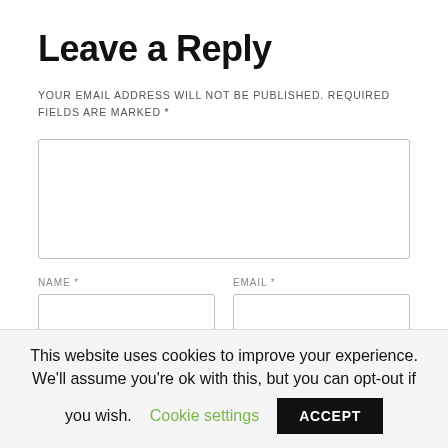Leave a Reply
YOUR EMAIL ADDRESS WILL NOT BE PUBLISHED. REQUIRED FIELDS ARE MARKED *
[Figure (screenshot): Web form with a large comment textarea, Name and Email input fields side by side, and a Website field below]
This website uses cookies to improve your experience. We'll assume you're ok with this, but you can opt-out if you wish. Cookie settings ACCEPT